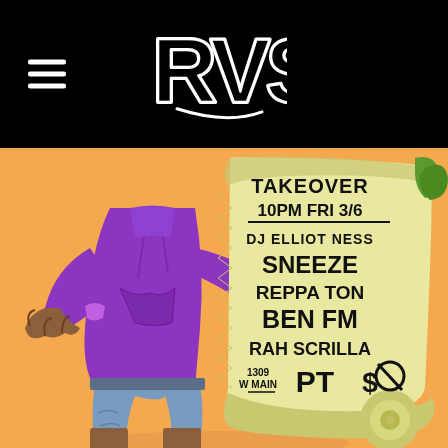[Figure (logo): RVS logo in white graffiti-style lettering on black background, with hamburger menu icon on left]
[Figure (illustration): Cartoon illustration of a headless character in purple hoodie and jean shorts holding a large scroll/flyer listing: TAKEOVER, 10PM FRI 3/6, DJ ELLIOT NESS, SNEEZE, REPPA TON, BEN FM, RAH SCRILLA, PT, $0, 1309 W MAIN. Orange background.]